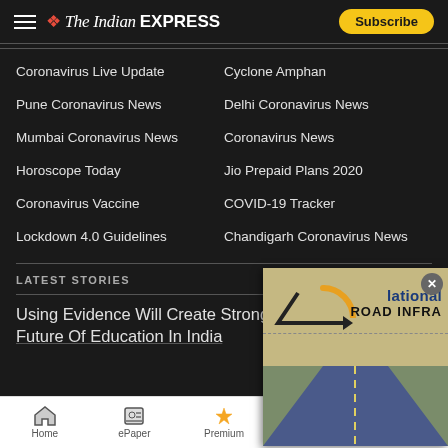The Indian EXPRESS — Subscribe
Coronavirus Live Update
Cyclone Amphan
Pune Coronavirus News
Delhi Coronavirus News
Mumbai Coronavirus News
Coronavirus News
Horoscope Today
Jio Prepaid Plans 2020
Coronavirus Vaccine
COVID-19 Tracker
Lockdown 4.0 Guidelines
Chandigarh Coronavirus News
LATEST STORIES
Using Evidence Will Create Strong Foundations For The Future Of Education In India
[Figure (screenshot): Popup overlay showing National Road Infra advertisement with road graphic]
Home   ePaper   Premium   Share   NEXT STORY